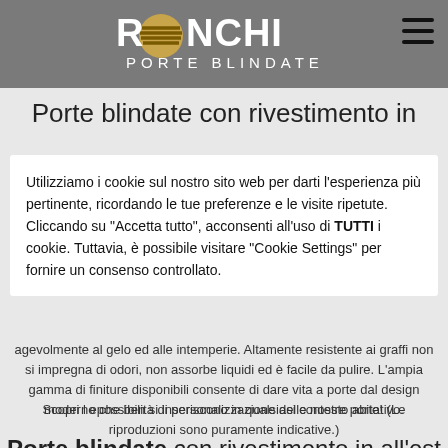RONCHI PORTE BLINDATE
Porte blindate con rivestimento in
Utilizziamo i cookie sul nostro sito web per darti l'esperienza più pertinente, ricordando le tue preferenze e le visite ripetute. Cliccando su "Accetta tutto", acconsenti all'uso di TUTTI i cookie. Tuttavia, è possibile visitare "Cookie Settings" per fornire un consenso controllato.
agevolmente al gelo ed alle intemperie. Altamente resistente ai graffi non si impregna di odori, non assorbe liquidi ed è facile da pulire. L'ampia gamma di finiture disponibili consente di dare vita a porte dal design moderno che ben si inseriscono in qualsiasi contesto abitativo.
Scopri l epossibilità di personalizzazione delle nostre porte! (Le riproduzioni sono puramente indicative.)
Porte blindate con rivestimento in all'est